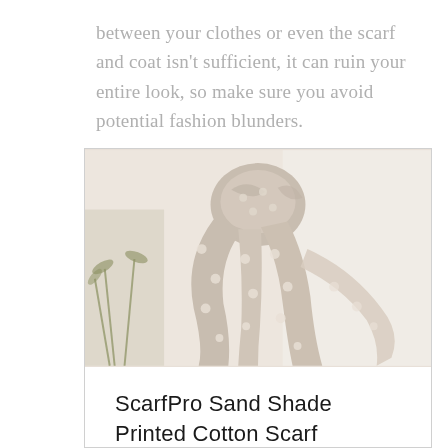between your clothes or even the scarf and coat isn't sufficient, it can ruin your entire look, so make sure you avoid potential fashion blunders.
[Figure (photo): A beige/sand colored polka dot cotton scarf draped and knotted around a mannequin neck, with a plant visible in the background against a light wall.]
ScarfPro Sand Shade Printed Cotton Scarf
Buy Now